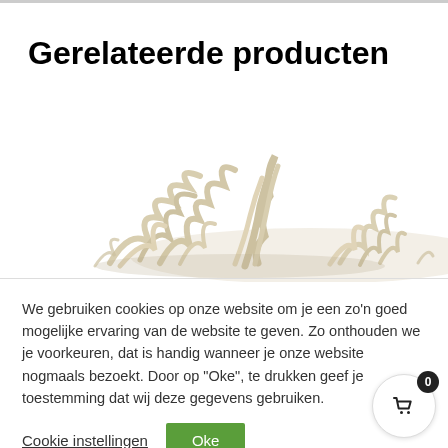Gerelateerde producten
[Figure (photo): A product photo showing dried crystalline or plant-based material (white/cream colored, resembling dried herbs or mineral crystals) against a white background.]
We gebruiken cookies op onze website om je een zo'n goed mogelijke ervaring van de website te geven. Zo onthouden we je voorkeuren, dat is handig wanneer je onze website nogmaals bezoekt. Door op "Oke", te drukken geef je toestemming dat wij deze gegevens gebruiken.
Cookie instellingen
Oke